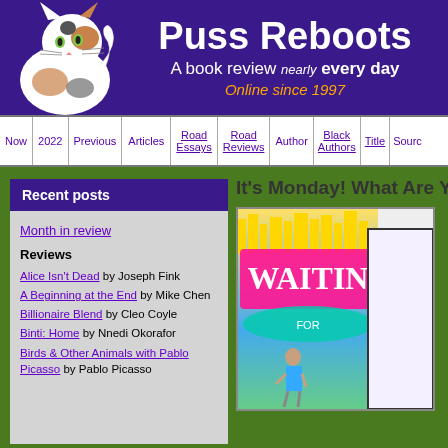Puss Reboots — A book review nearly every day — Online since 1997
Puss Reboots
A book review nearly every day
Online since 1997
Now | 2022 | Previous | Articles | Road Essays | Road Reviews | Author | Black Authors | Title | Source
Recent posts
Month in review
Reviews
Alice Isn't Dead by Joseph Fink
A Beginning at the End by Mike Chen
Billionaire Blend by Cleo Coyle
Binti: Home by Nnedi Okorafor
Birds & Other Animals with Pablo Picasso by Pablo Picasso
It's Monday! What Are You R
[Figure (illustration): Book covers partially visible — colorful illustrated cover with 'WAITING' text visible in pink letters, and a second book cover partially visible on the right side]